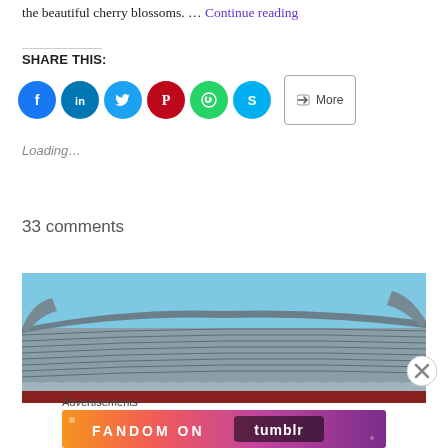the beautiful cherry blossoms. … Continue reading
SHARE THIS:
[Figure (other): Social share buttons: Facebook, LinkedIn, Twitter, Pinterest, WhatsApp, Skype, and More button]
Loading…
33 comments
[Figure (photo): Traditional Korean/East Asian tiled roof against a blue sky, with watermark © AudreySimplicity]
Advertisements
[Figure (other): Fandom on Tumblr advertisement banner with colorful gradient background]